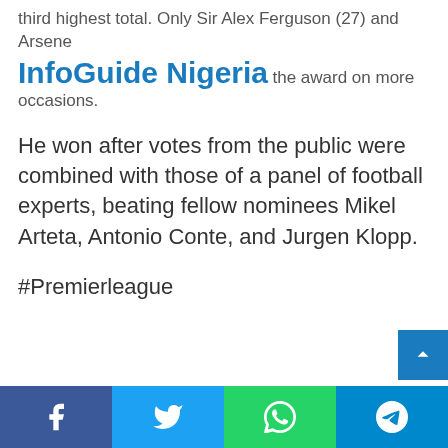third highest total. Only Sir Alex Ferguson (27) and Arsene Wenger (15) have claimed the award on more occasions.
InfoGuide Nigeria
He won after votes from the public were combined with those of a panel of football experts, beating fellow nominees Mikel Arteta, Antonio Conte, and Jurgen Klopp.
#Premierleague